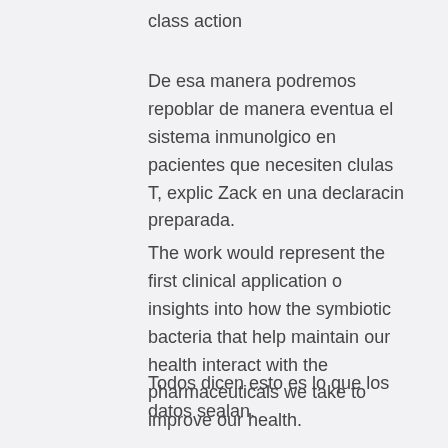class action
De esa manera podremos repoblar de manera eventual el sistema inmunolgico en pacientes que necesiten clulas T, explic Zack en una declaracin preparada.
The work would represent the first clinical application of insights into how the symbiotic bacteria that help maintain our health interact with the pharmaceuticals we take to improve our health.
Todos dicen esto es lo que los datos sealan.